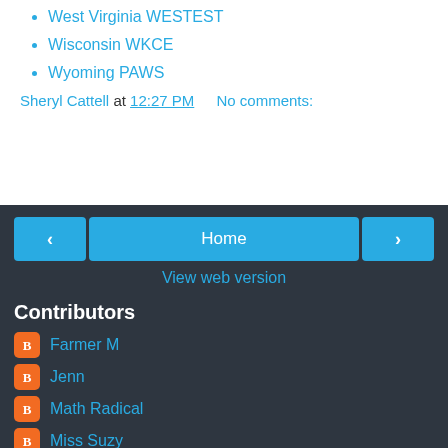West Virginia WESTEST
Wisconsin WKCE
Wyoming PAWS
Sheryl Cattell at 12:27 PM    No comments:
‹  Home  ›  View web version
Contributors
Farmer M
Jenn
Math Radical
Miss Suzy
Unknown